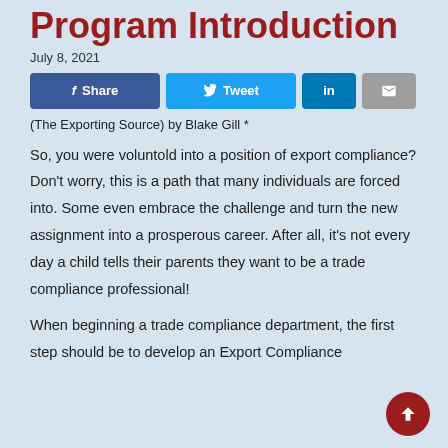Program Introduction
July 8, 2021
[Figure (other): Social sharing buttons: Share (Facebook), Tweet (Twitter), LinkedIn, Email]
(The Exporting Source) by Blake Gill *
So, you were voluntold into a position of export compliance? Don't worry, this is a path that many individuals are forced into. Some even embrace the challenge and turn the new assignment into a prosperous career. After all, it's not every day a child tells their parents they want to be a trade compliance professional!
When beginning a trade compliance department, the first step should be to develop an Export Compliance